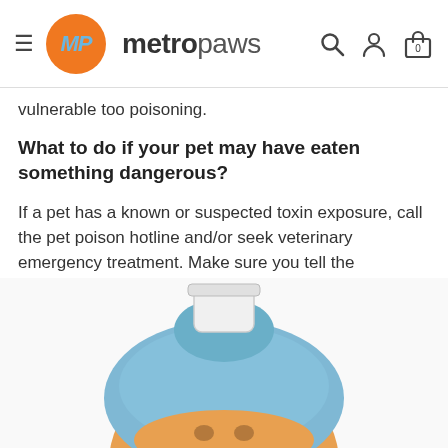metropaws
vulnerable too poisoning.
What to do if your pet may have eaten something dangerous?
If a pet has a known or suspected toxin exposure, call the pet poison hotline and/or seek veterinary emergency treatment. Make sure you tell the veterinarian whether you know what the pet eats or was subjected to. You can even bring it with you.
[Figure (photo): Photo of a pet (cat or dog) with a light blue towel/wrap around its head and a white jar or container on top, suggesting a spa or sick-pet scenario.]